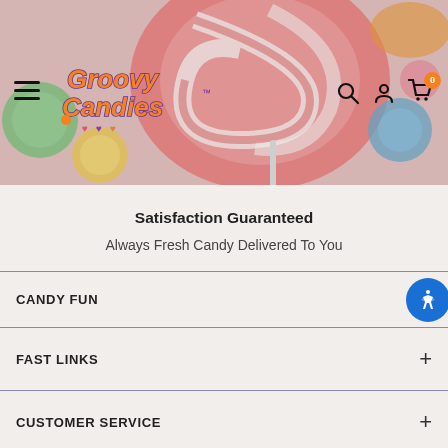[Figure (screenshot): Groovy Candies website header with colorful candy background image, hamburger menu icon, Groovy Candies logo, search icon, account icon, and cart icon with 0 badge]
Satisfaction Guaranteed
Always Fresh Candy Delivered To You
CANDY FUN
FAST LINKS
CUSTOMER SERVICE
WWW.GROOVYCANDIES.COM